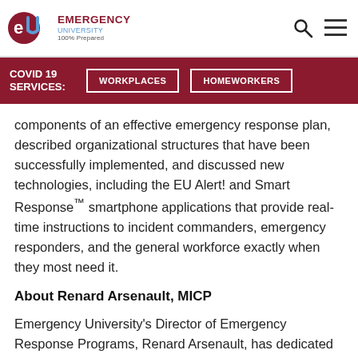EMERGENCY UNIVERSITY 100% Prepared
COVID 19 SERVICES: WORKPLACES HOMEWORKERS
components of an effective emergency response plan, described organizational structures that have been successfully implemented, and discussed new technologies, including the EU Alert! and Smart Response™ smartphone applications that provide real-time instructions to incident commanders, emergency responders, and the general workforce exactly when they most need it.
About Renard Arsenault, MICP
Emergency University's Director of Emergency Response Programs, Renard Arsenault, has dedicated over 27 years to Emergency Medical